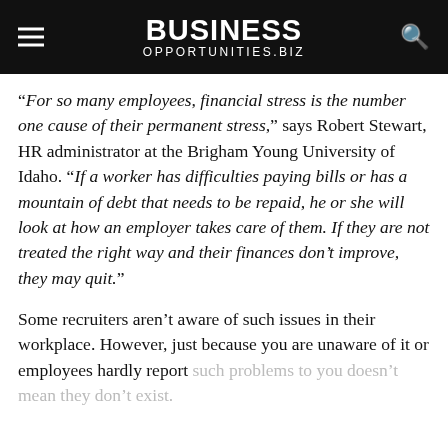BUSINESS OPPORTUNITIES.BIZ
“For so many employees, financial stress is the number one cause of their permanent stress,” says Robert Stewart, HR administrator at the Brigham Young University of Idaho. “If a worker has difficulties paying bills or has a mountain of debt that needs to be repaid, he or she will look at how an employer takes care of them. If they are not treated the right way and their finances don’t improve, they may quit.”
Some recruiters aren’t aware of such issues in their workplace. However, just because you are unaware of it or employees hardly report such problems to you doesn’t mean they don’t exist.